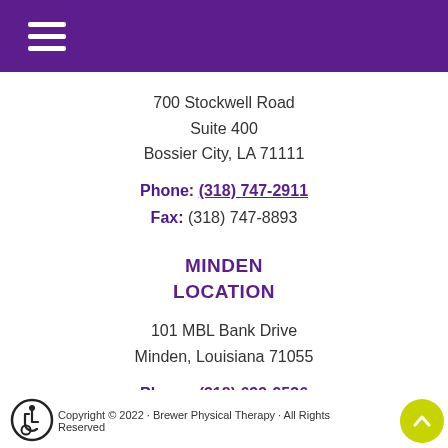Navigation menu header bar
700 Stockwell Road
Suite 400
Bossier City, LA 71111
Phone: (318) 747-2911
Fax: (318) 747-8893
MINDEN LOCATION
101 MBL Bank Drive
Minden, Louisiana 71055
Phone: (318) 639-9536
Fax: (318) 639-9537
Copyright © 2022 · Brewer Physical Therapy · All Rights Reserved